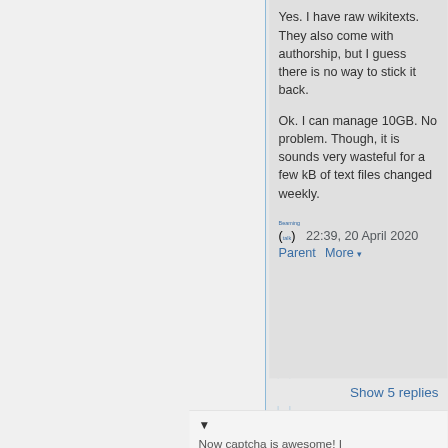Yes. I have raw wikitexts. They also come with authorship, but I guess there is no way to stick it back.
Ok. I can manage 10GB. No problem. Though, it is sounds very wasteful for a few kB of text files changed weekly.
Beaming (talk)  22:39, 20 April 2020   Parent  More ▾
Show 5 replies
▼
Now captcha is awesome! I